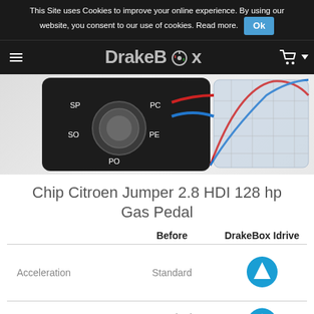This Site uses Cookies to improve your online experience. By using our website, you consent to our use of cookies. Read more. Ok
DrakeBox
[Figure (photo): DrakeBox Idrive product image showing a knob controller with SP, PC, SO, PE, PO labels and a performance graph with red and blue curves]
Chip Citroen Jumper 2.8 HDI 128 hp Gas Pedal
|  | Before | DrakeBox Idrive |
| --- | --- | --- |
| Acceleration | Standard | ↑ |
| Response | Standard | ↑ |